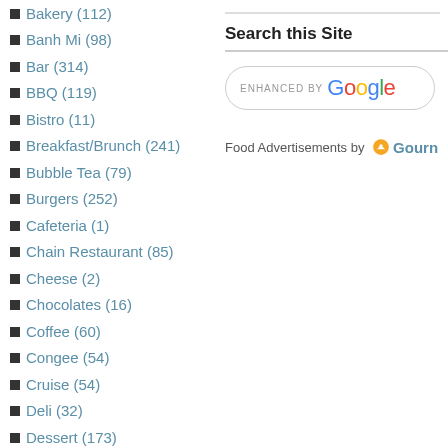Bakery (112)
Banh Mi (98)
Bar (314)
BBQ (119)
Bistro (11)
Breakfast/Brunch (241)
Bubble Tea (79)
Burgers (252)
Cafeteria (1)
Chain Restaurant (85)
Cheese (2)
Chocolates (16)
Coffee (60)
Congee (54)
Cruise (54)
Deli (32)
Dessert (173)
Dim Sum (259)
Donuts (23)
Fine Dining (172)
Fish n Chips (49)
Food Cart (41)
Search this Site
[Figure (other): Enhanced by Google search bar widget]
Food Advertisements by Gourn